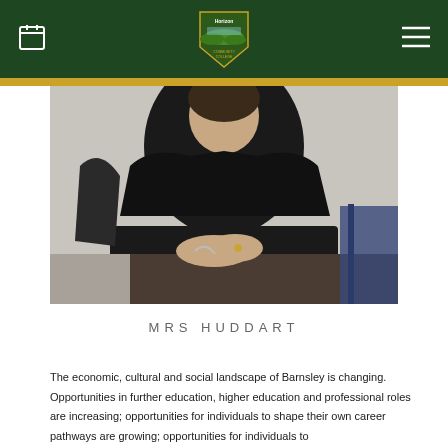Horizon Community College header with calendar icon, logo, and menu icon
[Figure (photo): Photo of Mrs Huddart seated at a desk with hands folded, wearing a black blazer, with papers and binders on the desk]
MRS HUDDART
The economic, cultural and social landscape of Barnsley is changing. Opportunities in further education, higher education and professional roles are increasing; opportunities for individuals to shape their own career pathways are growing; opportunities for individuals to